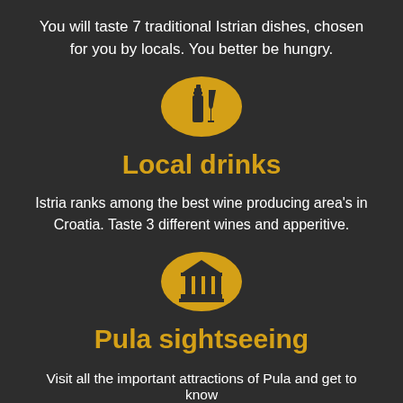You will taste 7 traditional Istrian dishes, chosen for you by locals. You better be hungry.
[Figure (illustration): Golden circle icon with a wine bottle and wine glass silhouette]
Local drinks
Istria ranks among the best wine producing area's in Croatia. Taste 3 different wines and apperitive.
[Figure (illustration): Golden circle icon with a classical building/museum with columns]
Pula sightseeing
Visit all the important attractions of Pula and get to know